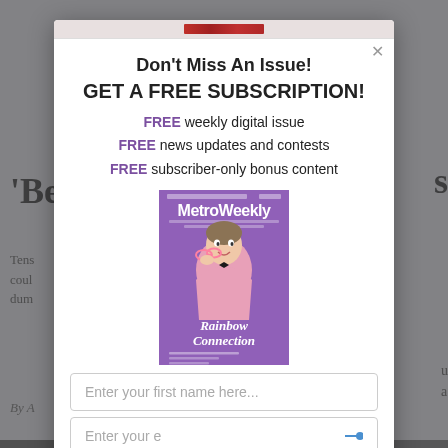Don't Miss An Issue!
GET A FREE SUBSCRIPTION!
FREE weekly digital issue
FREE news updates and contests
FREE subscriber-only bonus content
[Figure (photo): Metro Weekly magazine cover showing a man in a pink sparkly blazer and bow tie holding pink glasses, with text 'Rainbow Connection' on a purple background]
Enter your first name here...
Enter your email here...